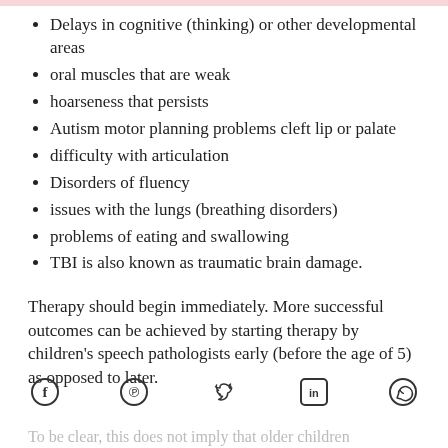Delays in cognitive (thinking) or other developmental areas
oral muscles that are weak
hoarseness that persists
Autism motor planning problems cleft lip or palate
difficulty with articulation
Disorders of fluency
issues with the lungs (breathing disorders)
problems of eating and swallowing
TBI is also known as traumatic brain damage.
Therapy should begin immediately. More successful outcomes can be achieved by starting therapy by children's speech pathologists early (before the age of 5) as opposed to later.
To be clear, this does not imply that older children